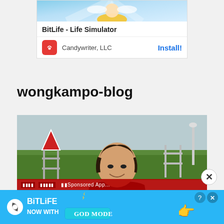[Figure (screenshot): BitLife - Life Simulator app advertisement card showing cartoon image strip, app title, Candywriter LLC developer name, and Install button]
wongkampo-blog
[Figure (photo): Young Asian man in black hoodie leaning forward smiling, outdoors with green hedges and metal railings in background]
[Figure (screenshot): BitLife - Now with GOD MODE bottom advertisement banner in blue]